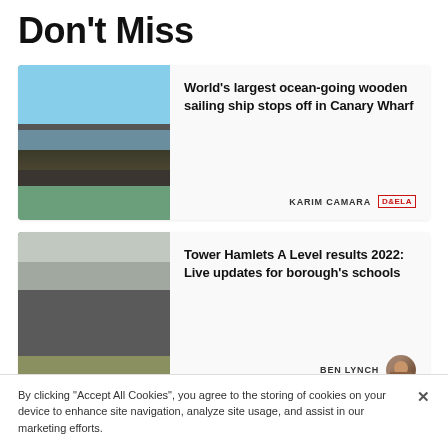Don't Miss
[Figure (photo): Photo of the world's largest ocean-going wooden sailing ship docked at Canary Wharf with buildings in background]
World's largest ocean-going wooden sailing ship stops off in Canary Wharf
KARIM CAMARA D&ELA
[Figure (photo): Photo of students holding papers outdoors, celebrating A Level results]
Tower Hamlets A Level results 2022: Live updates for borough's schools
BEN LYNCH
By clicking "Accept All Cookies", you agree to the storing of cookies on your device to enhance site navigation, analyze site usage, and assist in our marketing efforts.